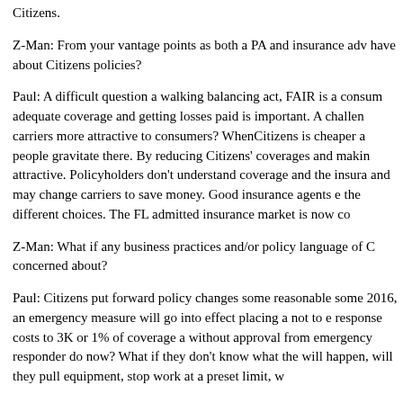Citizens.
Z-Man: From your vantage points as both a PA and insurance adv have about Citizens policies?
Paul: A difficult question a walking balancing act, FAIR is a consum adequate coverage and getting losses paid is important. A challen carriers more attractive to consumers? WhenCitizens is cheaper a people gravitate there. By reducing Citizens' coverages and makin attractive. Policyholders don't understand coverage and the insura and may change carriers to save money. Good insurance agents e the different choices. The FL admitted insurance market is now co
Z-Man: What if any business practices and/or policy language of C concerned about?
Paul: Citizens put forward policy changes some reasonable some 2016, an emergency measure will go into effect placing a not to e response costs to 3K or 1% of coverage a without approval from emergency responder do now? What if they don't know what the will happen, will they pull equipment, stop work at a preset limit, w